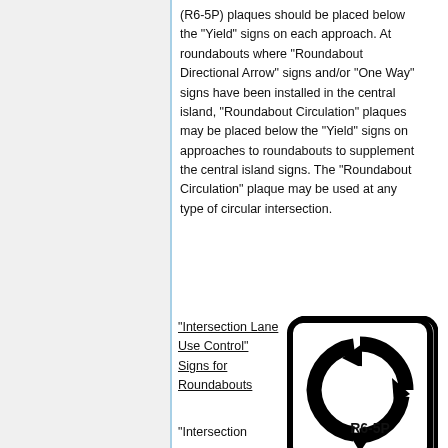(R6-5P) plaques should be placed below the “Yield” signs on each approach. At roundabouts where “Roundabout Directional Arrow” signs and/or “One Way” signs have been installed in the central island, “Roundabout Circulation” plaques may be placed below the “Yield” signs on approaches to roundabouts to supplement the central island signs. The “Roundabout Circulation” plaque may be used at any type of circular intersection.
“Intersection Lane Use Control” Signs for Roundabouts
[Figure (illustration): Roundabout Circulation sign (R6-5P): square white sign with rounded corners and black border showing three curved arrows forming a circular pattern indicating counterclockwise traffic flow.]
R6-5P
“Intersection